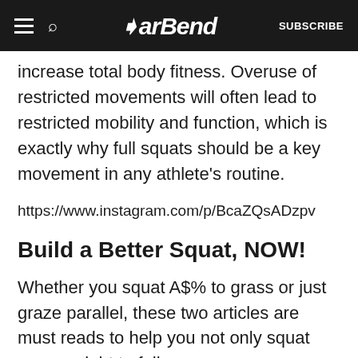BarBend | SUBSCRIBE
increase total body fitness. Overuse of restricted movements will often lead to restricted mobility and function, which is exactly why full squats should be a key movement in any athlete's routine.
https://www.instagram.com/p/BcaZQsADzpv
Build a Better Squat, NOW!
Whether you squat A$% to grass or just graze parallel, these two articles are must reads to help you not only squat more weight to full